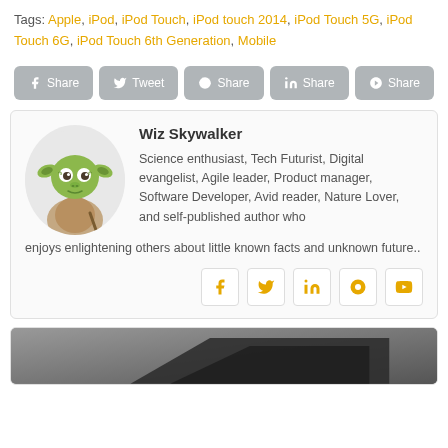Tags: Apple, iPod, iPod Touch, iPod touch 2014, iPod Touch 5G, iPod Touch 6G, iPod Touch 6th Generation, Mobile
[Figure (other): Social share buttons: Facebook Share, Twitter Tweet, Google Share, LinkedIn Share, Pinterest Share]
[Figure (other): Author card with Yoda avatar image, name Wiz Skywalker, bio text, and social media icons]
[Figure (photo): Partial photo of a dark device (likely an iPod Touch) on a grey background]